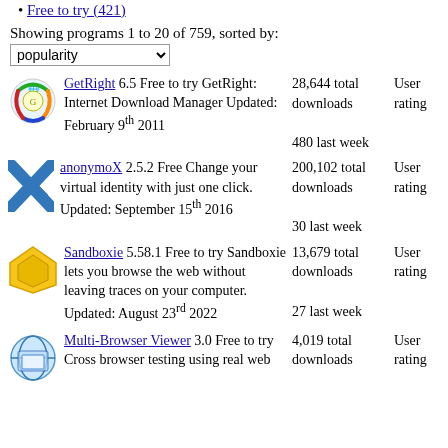Free to try (421)
Showing programs 1 to 20 of 759, sorted by: popularity
GetRight 6.5 Free to try GetRight: Internet Download Manager Updated: February 9th 2011 | 28,644 total downloads | 480 last week | User rating
anonymoX 2.5.2 Free Change your virtual identity with just one click. Updated: September 15th 2016 | 200,102 total downloads | 30 last week | User rating
Sandboxie 5.58.1 Free to try Sandboxie lets you browse the web without leaving traces on your computer. Updated: August 23rd 2022 | 13,679 total downloads | 27 last week | User rating
Multi-Browser Viewer 3.0 Free to try Cross browser testing using real web | 4,019 total downloads | User rating